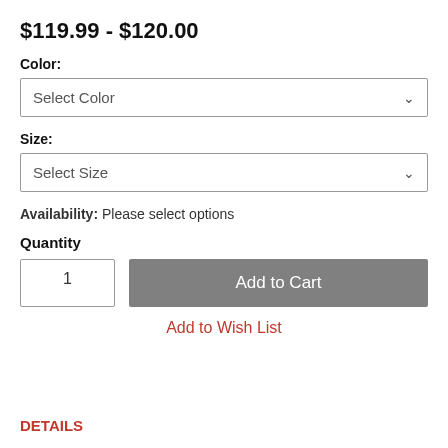$119.99 - $120.00
Color:
Select Color
Size:
Select Size
Availability: Please select options
Quantity
1
Add to Cart
Add to Wish List
DETAILS